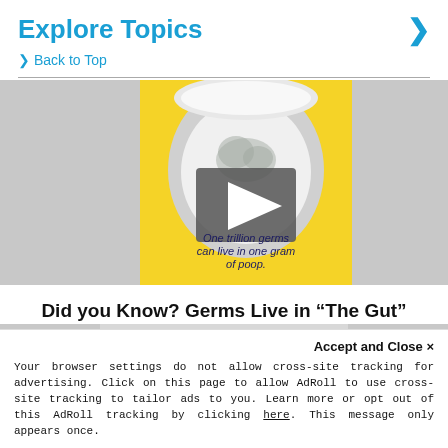Explore Topics
> Back to Top
[Figure (screenshot): Video thumbnail showing a toilet bowl on yellow background with text 'One trillion germs can live in one gram of poop.' and a play button overlay in the center.]
Did you Know? Germs Live in “The Gut”
Accept and Close ×
Your browser settings do not allow cross-site tracking for advertising. Click on this page to allow AdRoll to use cross-site tracking to tailor ads to you. Learn more or opt out of this AdRoll tracking by clicking here. This message only appears once.